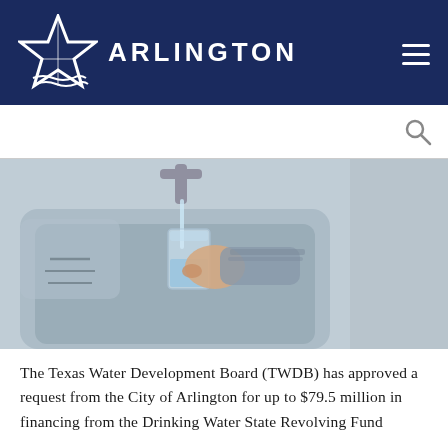ARLINGTON
[Figure (photo): A hand holding a clear glass being filled with water from a kitchen faucet over a stainless steel sink]
The Texas Water Development Board (TWDB) has approved a request from the City of Arlington for up to $79.5 million in financing from the Drinking Water State Revolving Fund